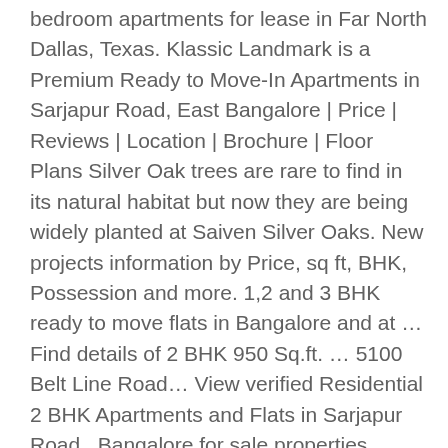bedroom apartments for lease in Far North Dallas, Texas. Klassic Landmark is a Premium Ready to Move-In Apartments in Sarjapur Road, East Bangalore | Price | Reviews | Location | Brochure | Floor Plans Silver Oak trees are rare to find in its natural habitat but now they are being widely planted at Saiven Silver Oaks. New projects information by Price, sq ft, BHK, Possession and more. 1,2 and 3 BHK ready to move flats in Bangalore and at … Find details of 2 BHK 950 Sq.ft. … 5100 Belt Line Road… View verified Residential 2 BHK Apartments and Flats in Sarjapur Road , Bangalore for sale properties. Experts peg the average price for an apartment in Sarjapur Road at around of Rs 4500 per sq ft. It consists of 2 balconies, is furnished with: … A place to relax at the end of a hard day. How is Saket Callipolis apartment?YOE: 7.5TC: ~99L#bangalore #india #sarjapur #apartment